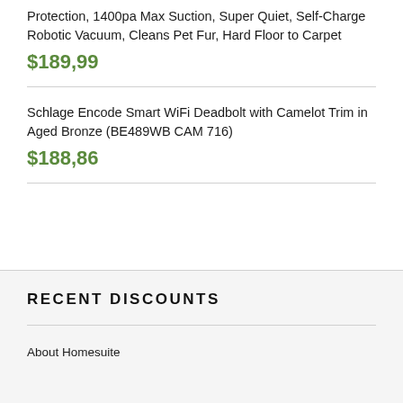Protection, 1400pa Max Suction, Super Quiet, Self-Charge Robotic Vacuum, Cleans Pet Fur, Hard Floor to Carpet
$189,99
Schlage Encode Smart WiFi Deadbolt with Camelot Trim in Aged Bronze (BE489WB CAM 716)
$188,86
RECENT DISCOUNTS
About Homesuite